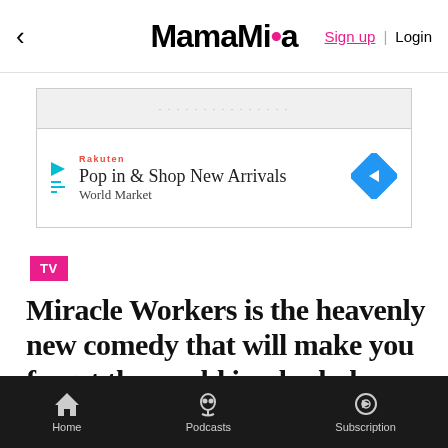MamaMia | Sign up | Login
[Figure (screenshot): Advertisement banner: Play icon, Rakuten brand logo, 'Pop in & Shop New Arrivals / World Market' text, blue diamond arrow icon on right]
TV
Miracle Workers is the heavenly new comedy that will make you forget the world is a bad place.
LAURA BRODNIK
Head Of Entertainment
FEBRUARY 12, 2019
Home | Podcasts | Subscription